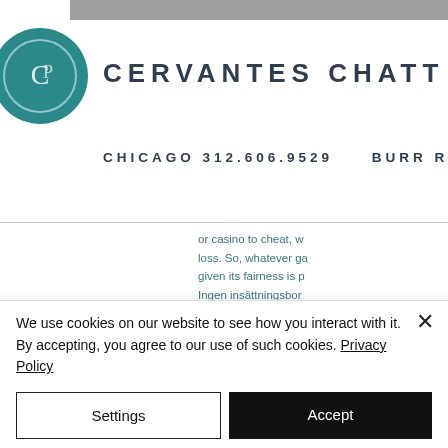[Figure (logo): Cervantes Chatt & Partners circular logo with 'CC' monogram in white on teal background]
CERVANTES CHATT &
CHICAGO 312.606.9529   BURR RI
or casino to cheat, w loss. So, whatever ga given its fairness is p Ingen insättningsbon
We use cookies on our website to see how you interact with it. By accepting, you agree to our use of such cookies. Privacy Policy
Settings
Accept